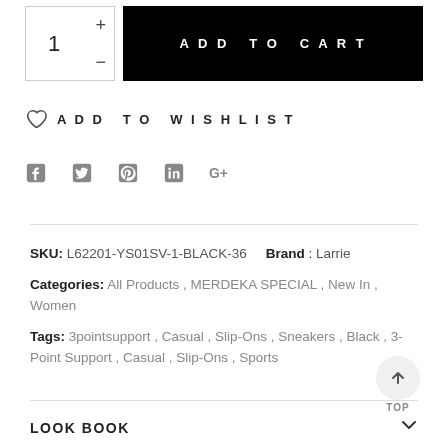1 + - ADD TO CART
ADD TO WISHLIST
[Figure (infographic): Social media icons row: Facebook, Twitter, Pinterest, LinkedIn, Google+]
SKU: L62201-YS01SV-1-BLACK-36   Brand : Larrie
Categories: All Products , MERDEKA SPECIAL , New In , Women
Tags: 3pointsupport , Casual , Slip-Ons , Sneakers , Black , 3-Point Support , Casual , Slip-Ons , Sports
LOOK BOOK